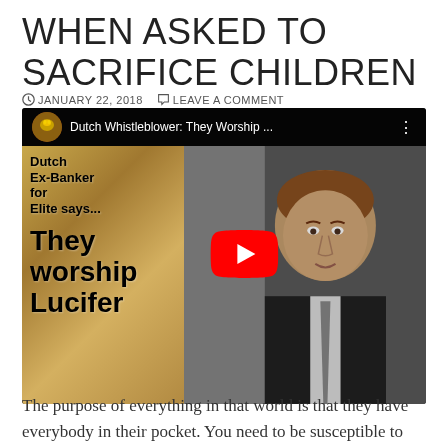WHEN ASKED TO SACRIFICE CHILDREN
JANUARY 22, 2018   LEAVE A COMMENT
[Figure (screenshot): YouTube video thumbnail showing a Dutch Ex-Banker with text overlay 'Dutch Ex-Banker for Elite says... They worship Lucifer' with a YouTube play button. The thumbnail shows a man in a dark suit on the right side and golden/stone texture on the left. The video title reads 'Dutch Whistleblower: They Worship ...']
The purpose of everything in that world is that they have everybody in their pocket. You need to be susceptible to